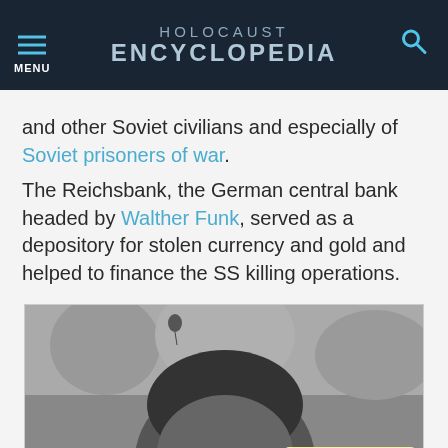HOLOCAUST ENCYCLOPEDIA
and other Soviet civilians and especially of Soviet prisoners of war.
The Reichsbank, the German central bank headed by Walther Funk, served as a depository for stolen currency and gold and helped to finance the SS killing operations.
[Figure (photo): Black and white photograph of a man, cropped to show the top of the head and upper face, with trees in the background.]